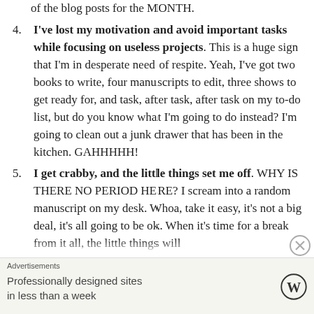of the blog posts for the MONTH.
4. I've lost my motivation and avoid important tasks while focusing on useless projects. This is a huge sign that I'm in desperate need of respite. Yeah, I've got two books to write, four manuscripts to edit, three shows to get ready for, and task, after task, after task on my to-do list, but do you know what I'm going to do instead? I'm going to clean out a junk drawer that has been in the kitchen. GAHHHHH!
5. I get crabby, and the little things set me off. WHY IS THERE NO PERIOD HERE? I scream into a random manuscript on my desk. Whoa, take it easy, it's not a big deal, it's all going to be ok. When it's time for a break from it all, the little things will
Advertisements
Professionally designed sites in less than a week